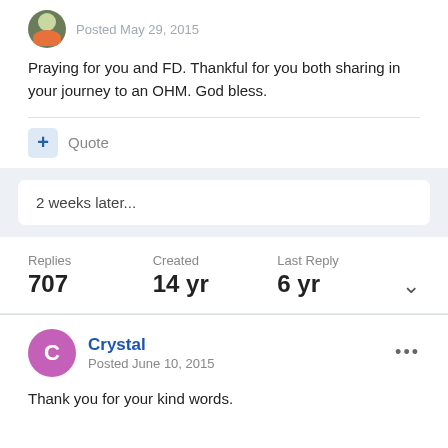Posted May 29, 2015
Praying for you and FD.  Thankful for you both sharing in your journey to an OHM.  God bless.
Quote
2 weeks later...
| Replies | Created | Last Reply |
| --- | --- | --- |
| 707 | 14 yr | 6 yr |
Crystal
Posted June 10, 2015
Thank you for your kind words.